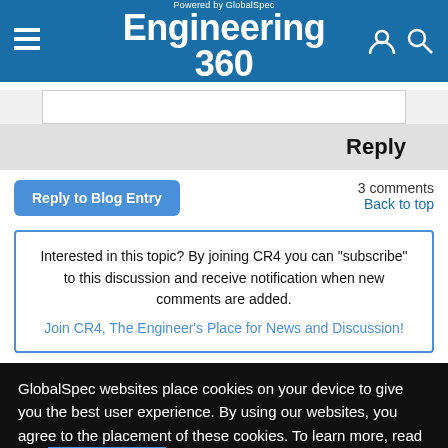Powered by GlobalSpec Engineering 360
Reply
Reply to Blog Entry
3 comments
Back to top
Interested in this topic? By joining CR4 you can "subscribe" to this discussion and receive notification when new comments are added.
Join CR4, The Engineer's Place for News and Discussion!
GlobalSpec websites place cookies on your device to give you the best user experience. By using our websites, you agree to the placement of these cookies. To learn more, read our Privacy Policy
Accept & Close